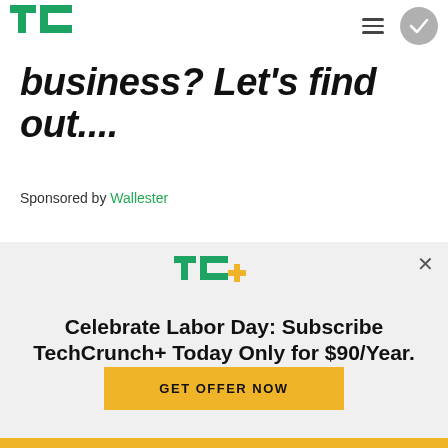TechCrunch navigation bar with TC logo, hamburger menu, and circle check button
business? Let's find out....
Sponsored by Wallester
[Figure (other): Small triangular ad indicator icon]
[Figure (logo): TC+ logo in green and gold]
Celebrate Labor Day: Subscribe TechCrunch+ Today Only for $90/Year.
GET OFFER NOW